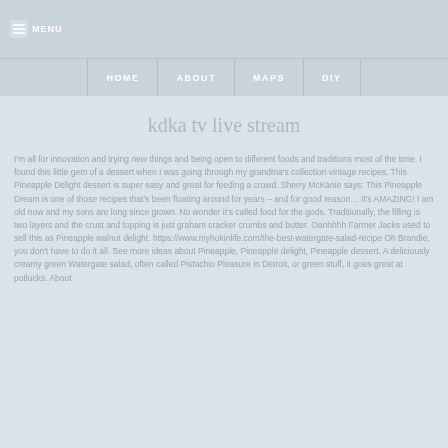MENU
HOME   ABOUT   MAPS   DIY
kdka tv live stream
I'm all for innovation and trying new things and being open to different foods and traditions most of the time. I found this little gem of a dessert when I was going through my grandma's collection vintage recipes. This Pineapple Delight dessert is super easy and great for feeding a crowd. Sherry McKanie says: This Pineapple Dream is one of those recipes that's been floating around for years – and for good reason… It's AMAZING! I am old now and my sons are long since grown. No wonder it's called food for the gods. Traditionally, the filling is two layers and the crust and topping is just graham cracker crumbs and butter. Oanhhhh Farmer Jacks used to sell this as Pineapple walnut delight. https://www.myhokinlife.com/the-best-watergate-salad-recipe Oh Brandie, you don't have to do it all. See more ideas about Pineapple, Pineapple delight, Pineapple dessert. A deliciously creamy green Watergate salad, often called Pistachio Pleasure in Detroit, or green stuff, it goes great at potlucks. About